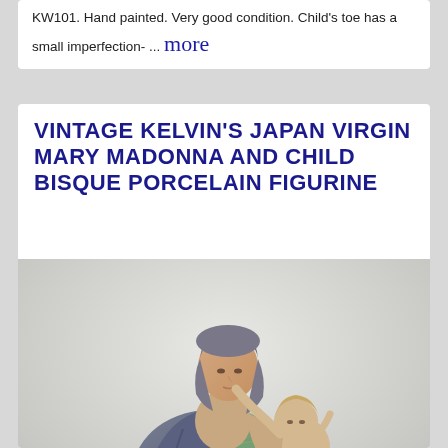KW101. Hand painted. Very good condition. Child's toe has a small imperfection- ... more
VINTAGE KELVIN'S JAPAN VIRGIN MARY MADONNA AND CHILD BISQUE PORCELAIN FIGURINE
[Figure (photo): A bisque porcelain figurine of the Virgin Mary Madonna seated, wearing a dark blue robe and green shawl, holding the Christ Child who is reaching up toward her face. The figurine sits on a rough textured base. Light background.]